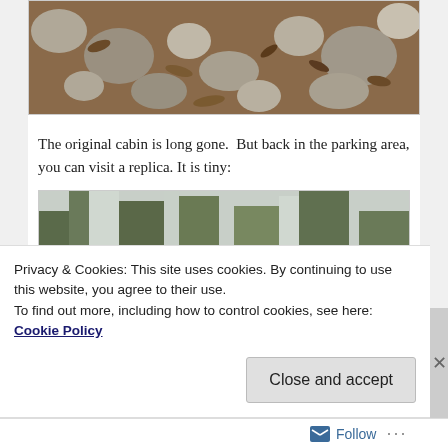[Figure (photo): Photo of rocks and dried leaves on the ground]
The original cabin is long gone.  But back in the parking area, you can visit a replica. It is tiny:
[Figure (photo): Photo of a small cabin rooftop with trees in the background]
Privacy & Cookies: This site uses cookies. By continuing to use this website, you agree to their use.
To find out more, including how to control cookies, see here: Cookie Policy
Close and accept
Follow